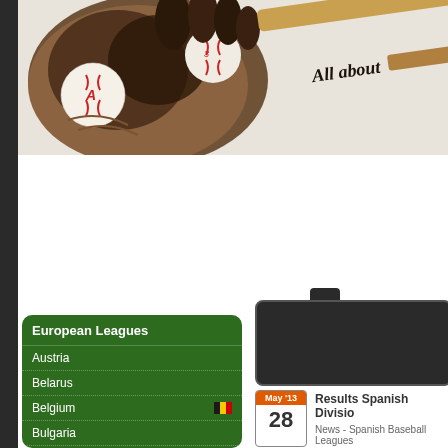[Figure (photo): Baseball glove, balls, and bat header image with 'All about' text in cursive on bat, sports website header]
European Leagues
Austria
Belarus
Belgium
Bulgaria
Croatia
[Figure (screenshot): Dark search/navigation box with tab on top]
May '13
28
Results Spanish Divisio
News - Spanish Baseball Leagues